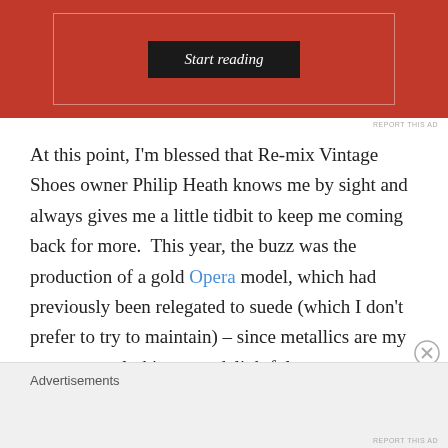[Figure (screenshot): Red advertisement banner with a dark 'Start reading' button inside a white-bordered box]
REPORT THIS AD
At this point, I'm blessed that Re-mix Vintage Shoes owner Philip Heath knows me by sight and always gives me a little tidbit to keep me coming back for more.  This year, the buzz was the production of a gold Opera model, which had previously been relegated to suede (which I don't prefer to try to maintain) – since metallics are my go-to neutral, this was a delightful new development and I was excited that this particular
Advertisements
REPORT THIS AD